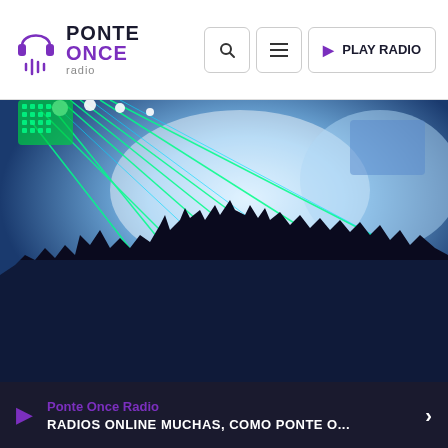PONTE ONCE radio | PLAY RADIO
[Figure (photo): Concert crowd silhouetted against green laser beams and bright stage lights at a music event, people raising hands]
Ponte Once Radio
RADIOS ONLINE MUCHAS, COMO PONTE O...